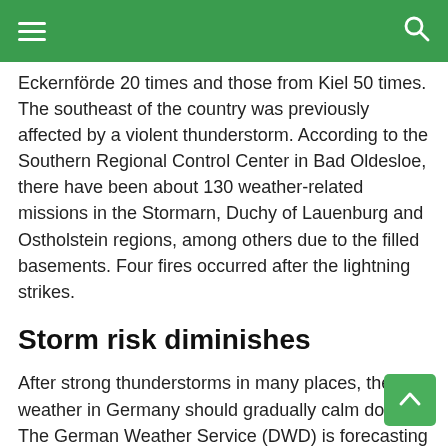Eckernförde 20 times and those from Kiel 50 times. The southeast of the country was previously affected by a violent thunderstorm. According to the Southern Regional Control Center in Bad Oldesloe, there have been about 130 weather-related missions in the Stormarn, Duchy of Lauenburg and Ostholstein regions, among others due to the filled basements. Four fires occurred after the lightning strikes.
Storm risk diminishes
After strong thunderstorms in many places, the weather in Germany should gradually calm down. The German Weather Service (DWD) is forecasting at least heavy rain until Friday – but there's no risk of storms, a DWD meteorologist said in Offenbach on Tuesday.
According to the information, there is already a lot of sunshine in the south and southeast on Wednesday. However, the air has become drier and cooler than before,